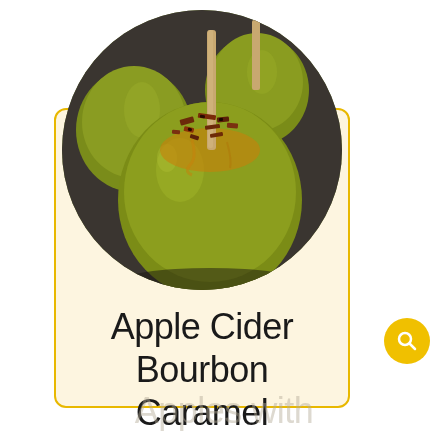[Figure (photo): Close-up photo of yellow-green caramel apples on sticks, with crumbled bacon topping, displayed in a circular crop]
Apple Cider Bourbon Caramel
Apples with